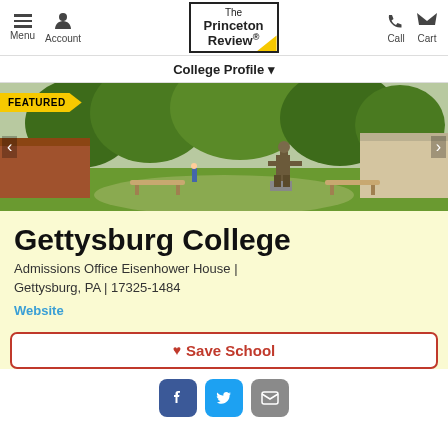Menu | Account | The Princeton Review | Call | Cart
College Profile
[Figure (photo): Campus photo of Gettysburg College showing a bronze statue of a seated figure, trees, benches, and brick buildings. A yellow 'FEATURED' banner is shown in the top-left.]
Gettysburg College
Admissions Office Eisenhower House | Gettysburg, PA | 17325-1484
Website
Save School